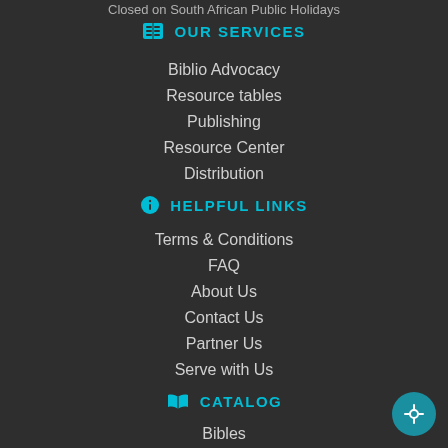Closed on South African Public Holidays
OUR SERVICES
Biblio Advocacy
Resource tables
Publishing
Resource Center
Distribution
HELPFUL LINKS
Terms & Conditions
FAQ
About Us
Contact Us
Partner Us
Serve with Us
CATALOG
Bibles
Kid's Bibles